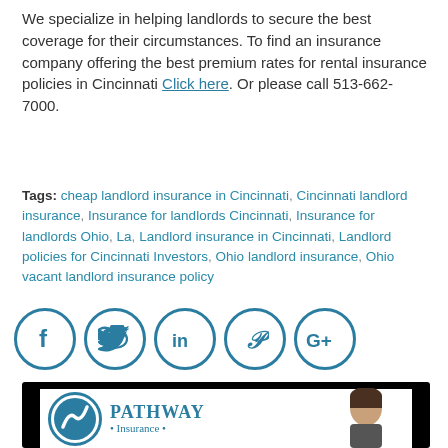We specialize in helping landlords to secure the best coverage for their circumstances. To find an insurance company offering the best premium rates for rental insurance policies in Cincinnati Click here. Or please call 513-662-7000.
Tags: cheap landlord insurance in Cincinnati, Cincinnati landlord insurance, Insurance for landlords Cincinnati, Insurance for landlords Ohio, La, Landlord insurance in Cincinnati, Landlord policies for Cincinnati Investors, Ohio landlord insurance, Ohio vacant landlord insurance policy
[Figure (infographic): Five social media icon circles: Facebook (f), Twitter (bird), LinkedIn (in), Pinterest (P), Google+ (G+), all in teal/dark blue outline style]
[Figure (photo): Video thumbnail showing Pathway Insurance logo with circular blue logo on white background, and a person's face on the right side, against a black border frame]